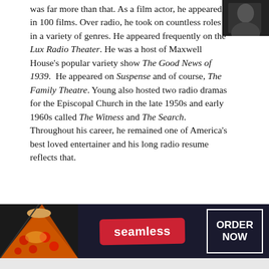was far more than that. As a film actor, he appeared in 100 films. Over radio, he took on countless roles in a variety of genres. He appeared frequently on the Lux Radio Theater. He was a host of Maxwell House's popular variety show The Good News of 1939. He appeared on Suspense and of course, The Family Theatre. Young also hosted two radio dramas for the Episcopal Church in the late 1950s and early 1960s called The Witness and The Search. Throughout his career, he remained one of America's best loved entertainer and his long radio resume reflects that.
[Figure (photo): Black and white portrait photo of a person, partially visible in the top right corner]
[Figure (photo): Seamless food delivery advertisement banner showing pizza image on left, Seamless logo in center, and ORDER NOW button on right]